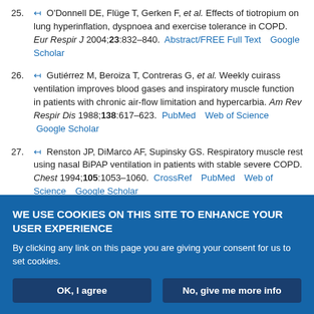25. O'Donnell DE, Flüge T, Gerken F, et al. Effects of tiotropium on lung hyperinflation, dyspnoea and exercise tolerance in COPD. Eur Respir J 2004;23:832–840. Abstract/FREE Full Text  Google Scholar
26. Gutiérrez M, Beroiza T, Contreras G, et al. Weekly cuirass ventilation improves blood gases and inspiratory muscle function in patients with chronic air-flow limitation and hypercarbia. Am Rev Respir Dis 1988;138:617–623. PubMed  Web of Science  Google Scholar
27. Renston JP, DiMarco AF, Supinsky GS. Respiratory muscle rest using nasal BiPAP ventilation in patients with stable severe COPD. Chest 1994;105:1053–1060. CrossRef  PubMed  Web of Science  Google Scholar
28. Strumpf DA, Millman RP, Carlisle CC, et al. Nocturnal positive-pressure
WE USE COOKIES ON THIS SITE TO ENHANCE YOUR USER EXPERIENCE
By clicking any link on this page you are giving your consent for us to set cookies.
OK, I agree   No, give me more info